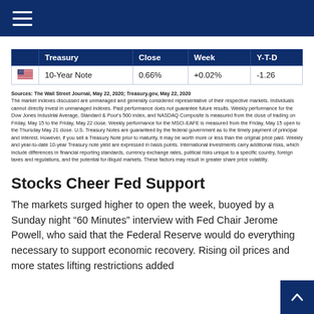|  | Treasury | Close | Week | Y-T-D |
| --- | --- | --- | --- | --- |
| 🇺🇸 | 10-Year Note | 0.66% | +0.02% | -1.26 |
Sources: The Wall Street Journal, May 22, 2020; Treasury.gov, May 22, 2020
The market indexes discussed are unmanaged and generally considered representative of their respective markets. Individuals cannot directly invest in unmanaged indexes. Past performance does not guarantee future results. Weekly performance for the Dow Jones Industrial Average, Standard & Poor's 500 index, and NASDAQ Composite is measured from the close of trading on Friday, May 15 to the Friday, May 22 close. Weekly performance for the MSCI-EAFE is measured from the Friday, May 15 open to the Thursday May 21 close. U.S. Treasury Notes are guaranteed by the federal government as to the timely payment of principal and interest. However, if you sell a Treasury Note prior to maturity, it may be worth more or less than the original price paid. Weekly and year-to-date 10-year Treasury note yield are expressed in basis points. International investments carry additional risks, which include differences in financial reporting standards, currency exchange rates, political risks unique to a specific country, foreign taxes and regulations, and the potential for illiquid markets. These factors may result in greater share price volatility.
Stocks Cheer Fed Support
The markets surged higher to open the week, buoyed by a Sunday night “60 Minutes” interview with Fed Chair Jerome Powell, who said that the Federal Reserve would do everything necessary to support economic recovery. Rising oil prices and more states lifting restrictions added to the overall improvement in sentiment.